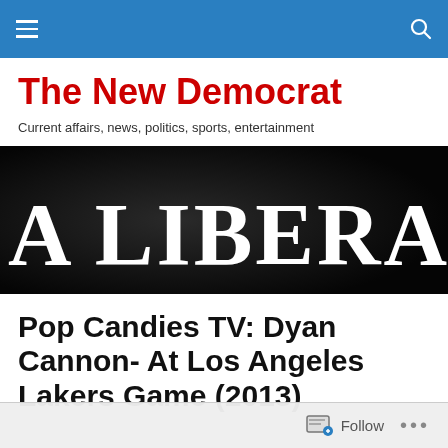The New Democrat
Current affairs, news, politics, sports, entertainment
[Figure (photo): Dark background image with large white serif text reading 'A LIBERAL']
Pop Candies TV: Dyan Cannon- At Los Angeles Lakers Game (2013)
Follow